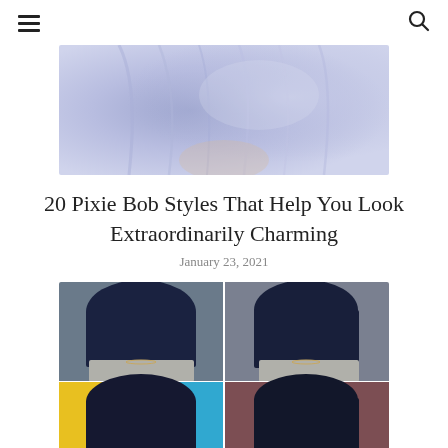≡  🔍
[Figure (photo): Close-up of the back and side of a head with lavender/light purple wavy hair, blurred background]
20 Pixie Bob Styles That Help You Look Extraordinarily Charming
January 23, 2021
[Figure (photo): Four-panel collage showing a woman with a dark navy blue sleek bob haircut, front and back views, with colorful background in bottom panels]